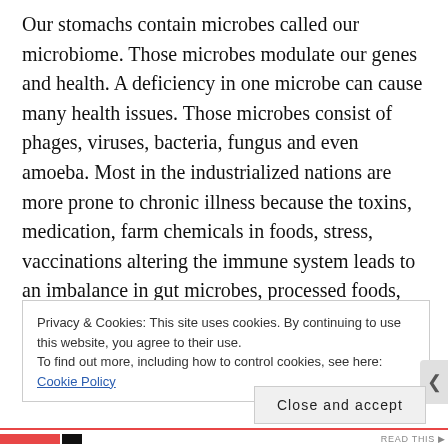Our stomachs contain microbes called our microbiome. Those microbes modulate our genes and health. A deficiency in one microbe can cause many health issues. Those microbes consist of phages, viruses, bacteria, fungus and even amoeba. Most in the industrialized nations are more prone to chronic illness because the toxins, medication, farm chemicals in foods, stress, vaccinations altering the immune system leads to an imbalance in gut microbes, processed foods, consumption of too much of one specific type of food instead of getting a variety causes a loss of many of the microbes in our
Privacy & Cookies: This site uses cookies. By continuing to use this website, you agree to their use. To find out more, including how to control cookies, see here: Cookie Policy
Close and accept